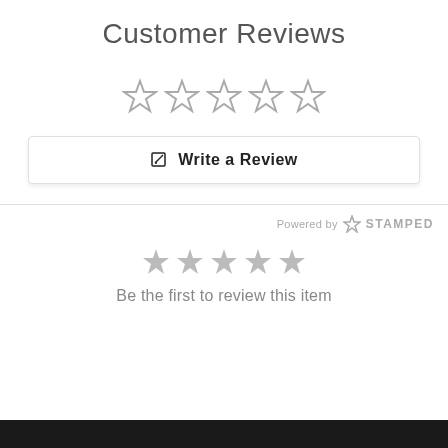Customer Reviews
[Figure (other): Five empty star rating icons in gray outline style]
Write a Review
Powered by STAMPED
[Figure (other): Five filled gray star icons indicating zero reviews]
Be the first to review this item